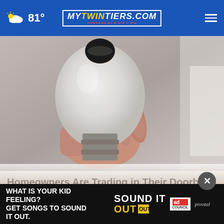81° | mytwintiers.com
[Figure (photo): A hand holding a white LED light bulb, shown close-up against a light gray background]
Homeowners Are Trading in Their Doorbell Cams for This.
Keilini.com
[Figure (photo): Partially visible second photo at the bottom of the page]
[Figure (other): Advertisement banner: WHAT IS YOUR KID FEELING? GET SONGS TO SOUND IT OUT. Sound It Out. Ad Council. Pivotal.]